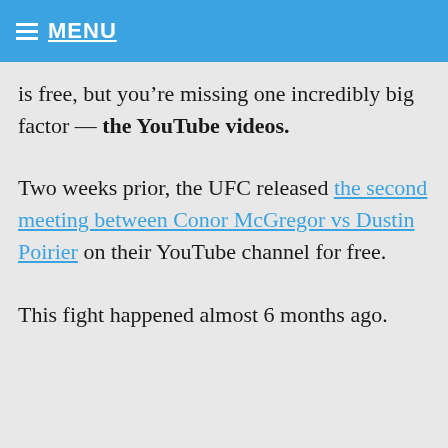MENU
is free, but you’re missing one incredibly big factor — the YouTube videos.
Two weeks prior, the UFC released the second meeting between Conor McGregor vs Dustin Poirier on their YouTube channel for free.
This fight happened almost 6 months ago.